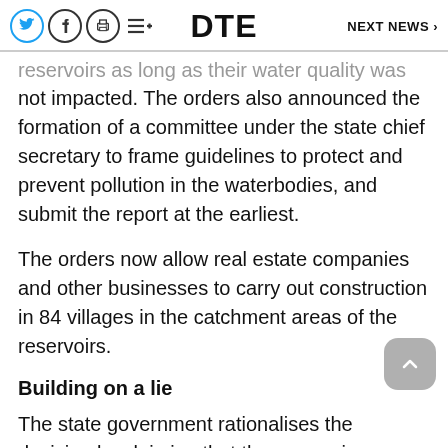DTE   NEXT NEWS ›
reservoirs as long as their water quality was not impacted. The orders also announced the formation of a committee under the state chief secretary to frame guidelines to protect and prevent pollution in the waterbodies, and submit the report at the earliest.
The orders now allow real estate companies and other businesses to carry out construction in 84 villages in the catchment areas of the reservoirs.
Building on a lie
The state government rationalises the decision by claiming that the reservoirs now